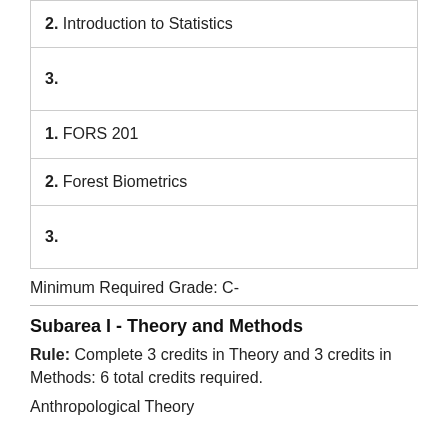2. Introduction to Statistics
3.
1. FORS 201
2. Forest Biometrics
3.
Minimum Required Grade: C-
Subarea I - Theory and Methods
Rule: Complete 3 credits in Theory and 3 credits in Methods: 6 total credits required.
Anthropological Theory